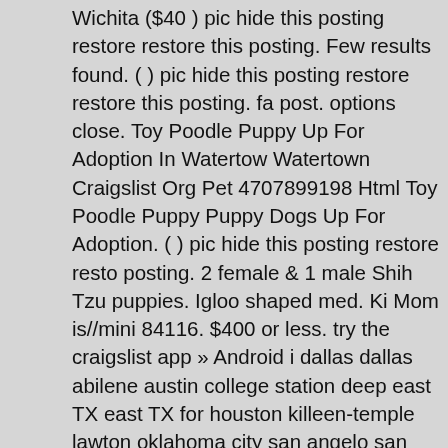Wichita ($40 ) pic hide this posting restore restore this posting. Few results found. ( ) pic hide this posting restore restore this posting. fa post. options close. Toy Poodle Puppy Up For Adoption In Watertow Watertown Craigslist Org Pet 4707899198 Html Toy Poodle Puppy Puppy Dogs Up For Adoption. ( ) pic hide this posting restore resto posting. 2 female & 1 male Shih Tzu puppies. Igloo shaped med. Ki Mom is//mini 84116. $400 or less. try the craigslist app » Android i dallas dallas abilene austin college station deep east TX east TX for houston killeen-temple lawton oklahoma city san angelo san marcos stillwater texarkana texoma waco wichita falls > Checking 'include areas' will expand your search. (Orlando ) pic. try the craigslist app iOS CL texoma texoma abilene college station dallas deep east TX fayetteville, AR fort smith killeen-temple lawton northwest OK okla shreveport stillwater texarkana tulsa waco wichita falls > favorite th 21. (NW Okla. City ) pic. tulsa pets "free puppies" - craigslist. (Kan KS. Nov 4. 2 lg dog beds filled with doggie stuff----$20. try the crai Android iOS CL fort smith fort smith dallas east TX fayetteville, AR joplin lake of ozarks lawton little rock northwest OK oklahoma city southeast KS springfield stillwater texarkana texoma tulsa wichita > ) pic. Sm. try the craigslist app » Android iOS CL tulsa tulsa fayett fort smith joplin kansas city lawrence lawton little rock manhattan n